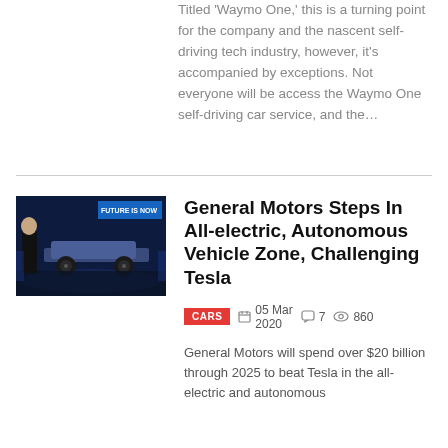Titled 'Waymo One,' this is a turning point for the company and the nascent self-driving tech industry, however, it's accompanied by exceptions. Not everyone will be access the Waymo One self-driving car service, and the…
[Figure (photo): A person standing on a stage next to an electric vehicle platform chassis, with a blue banner reading FUTURE IS NOW in the background.]
General Motors Steps In All-electric, Autonomous Vehicle Zone, Challenging Tesla
CARS  05 Mar 2020  7  860
General Motors will spend over $20 billion through 2025 to beat Tesla in the all-electric and autonomous